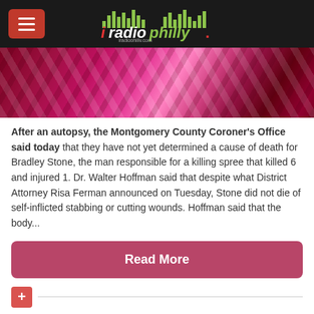iRadioPhilly - iradiophilly.com
[Figure (photo): Photo of people in colorful marching/parade costumes with pink, red, white and maroon decorations]
After an autopsy, the Montgomery County Coroner's Office said today that they have not yet determined a cause of death for Bradley Stone, the man responsible for a killing spree that killed 6 and injured 1. Dr. Walter Hoffman said that despite what District Attorney Risa Ferman announced on Tuesday, Stone did not die of self-inflicted stabbing or cutting wounds. Hoffman said that the body...
Read More
+
Center City Gay Bashing Suspects Held For Trial;